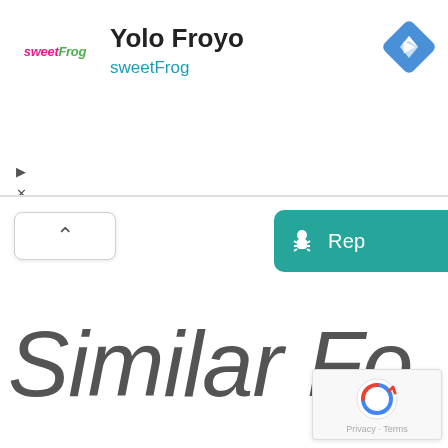[Figure (screenshot): Google Maps UI screenshot showing a sweetFrog location card for 'Yolo Froyo' with navigation icon, collapse button, Report a problem button, Similar Fo[r places] section heading, and reCAPTCHA badge]
Yolo Froyo
sweetFrog
Similar Fo[r...]
Privacy · Terms